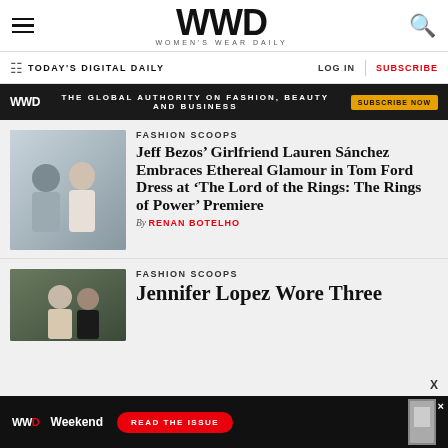WWD WOMEN'S WEAR DAILY
TODAY'S DIGITAL DAILY | LOG IN | SUBSCRIBE
WWD THE GLOBAL AUTHORITY ON FASHION, BEAUTY AND BUSINESS SUBSCRIBE NOW
FASHION SCOOPS
Jeff Bezos’ Girlfriend Lauren Sánchez Embraces Ethereal Glamour in Tom Ford Dress at ‘The Lord of the Rings: The Rings of Power’ Premiere
By RENAN BOTELHO
[Figure (photo): Photo of Jeff Bezos and Lauren Sanchez at premiere]
FASHION SCOOPS
Jennifer Lopez Wore Three
[Figure (photo): Photo of Jennifer Lopez at event]
[Figure (infographic): WWD Weekend ad banner at bottom: READ THE ISSUE]
X